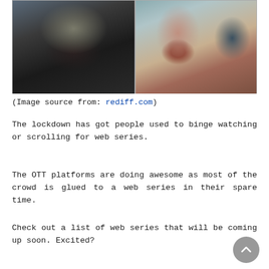[Figure (photo): Two side-by-side photos: left shows a man in a black leather jacket; right shows a woman in a red/maroon dress with a belt and a man in a dark blazer in the background]
(Image source from: rediff.com)
The lockdown has got people used to binge watching or scrolling for web series.
The OTT platforms are doing awesome as most of the crowd is glued to a web series in their spare time.
Check out a list of web series that will be coming up soon. Excited?